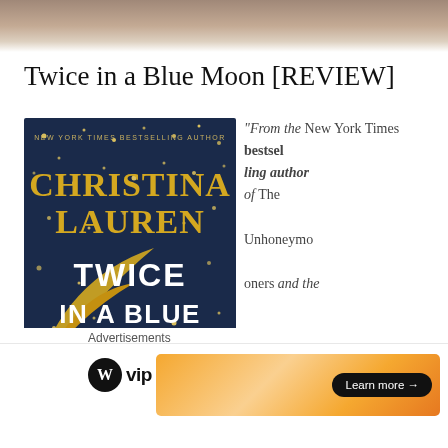[Figure (photo): Blurred background photo of books on a shelf at the top of the page]
Twice in a Blue Moon [REVIEW]
[Figure (photo): Book cover of 'Twice in a Blue Moon' by Christina Lauren. Dark navy blue background with gold stars and a gold crescent moon. Text reads: NEW YORK TIMES BESTSELLING AUTHOR, CHRISTINA LAUREN, TWICE IN A BLUE]
“From the New York Times bestselling author of The Unhoneymooners and the
Advertisements
[Figure (logo): WordPress VIP logo and advertisement banner with 'Learn more' button]